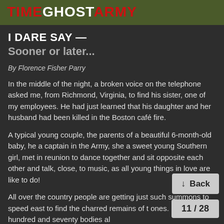TIMEGHOSTARMY
I DARE SAY — Sooner or later...
By Florence Fisher Parry
In the middle of the night, a broken voice on the telephone asked me, from Richmond, Virginia, to find his sister, one of my employees. He had just learned that his daughter and her husband had been killed in the Boston café fire.
A typical young couple, the parents of a beautiful 6-month-old baby, he a captain in the Army, she a sweet young Southern girl, met in reunion to dance together and sit opposite each other and talk, close, to music, as all young things in love are like to do!
All over the country people are getting just such summons to speed east to find the charred remains of t ones. Four hundred and seventy bodies al
11 / 28